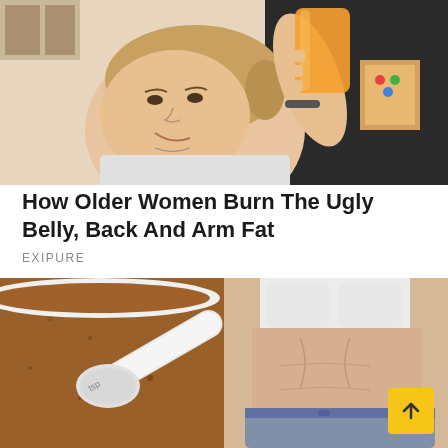[Figure (photo): A smiling woman holding up an orange drink/juice glass in a kitchen setting]
How Older Women Burn The Ugly Belly, Back And Arm Fat
EXIPURE
[Figure (photo): Split image: left side shows a scoop in brown powder/spice; right side shows a fit woman's toned midsection in white sports bra and jeans]